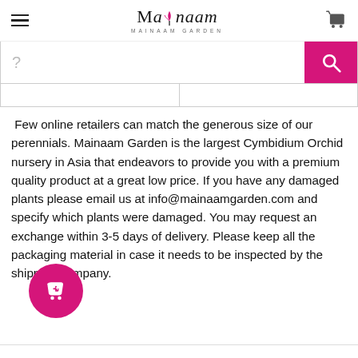[Figure (logo): Mainaam Garden logo with stylized text and tulip icon, subtitle MAINAAM GARDEN]
[Figure (screenshot): Search bar with question mark placeholder and pink search button with magnifying glass icon]
Few online retailers can match the generous size of our perennials. Mainaam Garden is the largest Cymbidium Orchid nursery in Asia that endeavors to provide you with a premium quality product at a great low price. If you have any damaged plants please email us at info@mainaamgarden.com and specify which plants were damaged. You may request an exchange within 3-5 days of delivery. Please keep all the packaging material in case it needs to be inspected by the shipping company.
[Figure (illustration): Pink circular floating action button with shopping bag and heart icon]